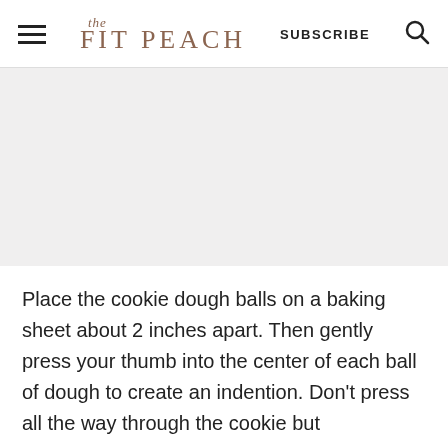the FIT PEACH | SUBSCRIBE
[Figure (photo): Large image area showing baking/cooking content, appears blank/light gray in this view]
Place the cookie dough balls on a baking sheet about 2 inches apart. Then gently press your thumb into the center of each ball of dough to create an indention. Don't press all the way through the cookie but